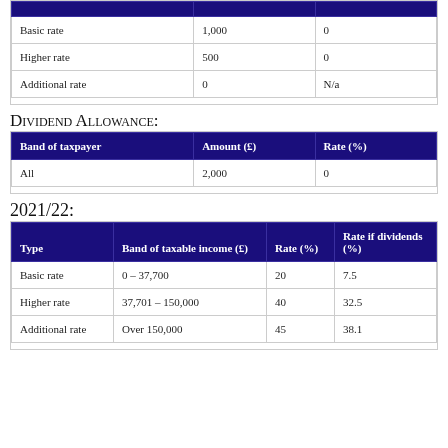|  |  |  |
| --- | --- | --- |
| Basic rate | 1,000 | 0 |
| Higher rate | 500 | 0 |
| Additional rate | 0 | N/a |
Dividend Allowance:
| Band of taxpayer | Amount (£) | Rate (%) |
| --- | --- | --- |
| All | 2,000 | 0 |
2021/22:
| Type | Band of taxable income (£) | Rate (%) | Rate if dividends (%) |
| --- | --- | --- | --- |
| Basic rate | 0 – 37,700 | 20 | 7.5 |
| Higher rate | 37,701 – 150,000 | 40 | 32.5 |
| Additional rate | Over 150,000 | 45 | 38.1 |